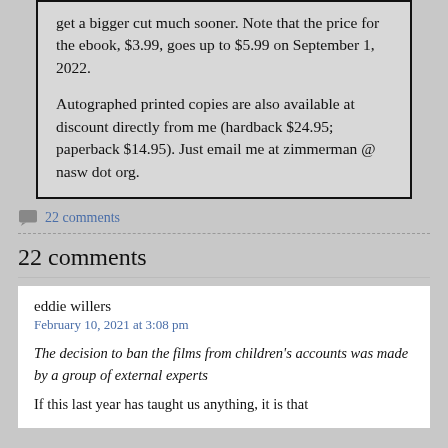get a bigger cut much sooner. Note that the price for the ebook, $3.99, goes up to $5.99 on September 1, 2022.

Autographed printed copies are also available at discount directly from me (hardback $24.95; paperback $14.95). Just email me at zimmerman @ nasw dot org.
22 comments
22 comments
eddie willers
February 10, 2021 at 3:08 pm

The decision to ban the films from children's accounts was made by a group of external experts

If this last year has taught us anything, it is that